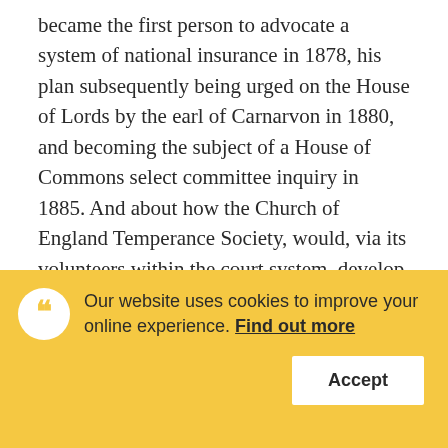became the first person to advocate a system of national insurance in 1878, his plan subsequently being urged on the House of Lords by the earl of Carnarvon in 1880, and becoming the subject of a House of Commons select committee inquiry in 1885. And about how the Church of England Temperance Society, would, via its volunteers within the court system, develop the country's first probation service. And about how Archbishop Frederick Temple, addressing a deputation of trade unionists in 1899 affirmed...
Our website uses cookies to improve your online experience. Find out more